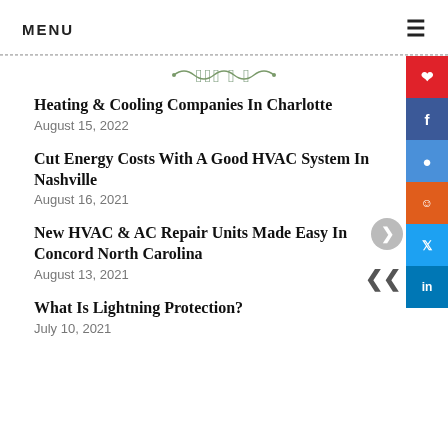MENU
Heating & Cooling Companies In Charlotte
August 15, 2022
Cut Energy Costs With A Good HVAC System In Nashville
August 16, 2021
New HVAC & AC Repair Units Made Easy In Concord North Carolina
August 13, 2021
What Is Lightning Protection?
July 10, 2021